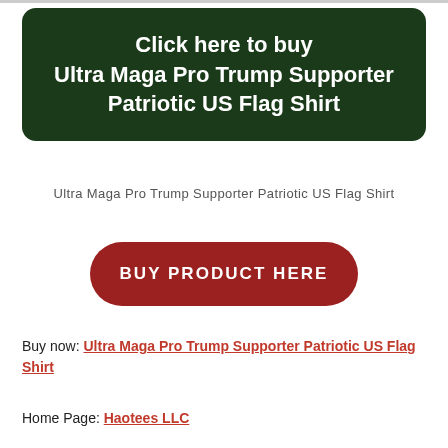Click here to buy Ultra Maga Pro Trump Supporter Patriotic US Flag Shirt
Ultra Maga Pro Trump Supporter Patriotic US Flag Shirt
BUY PRODUCT HERE
Buy now: Ultra Maga Pro Trump Supporter Patriotic US Flag Shirt
Home Page: Haotees LLC